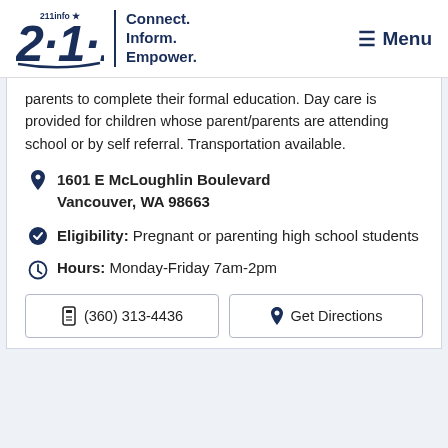[Figure (logo): 211info logo with tagline 'Connect. Inform. Empower.' and Menu button]
parents to complete their formal education. Day care is provided for children whose parent/parents are attending school or by self referral. Transportation available.
1601 E McLoughlin Boulevard Vancouver, WA 98663
Eligibility: Pregnant or parenting high school students
Hours: Monday-Friday 7am-2pm
(360) 313-4436
Get Directions